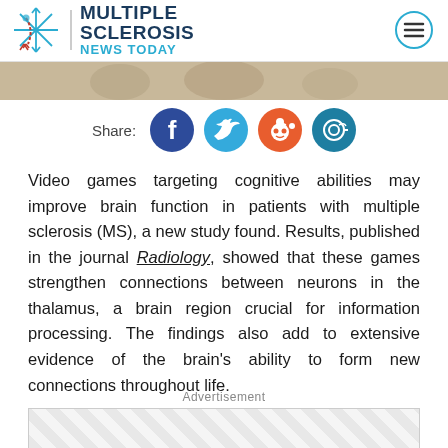Multiple Sclerosis News Today
[Figure (photo): Partial photo strip showing people, cropped at top]
[Figure (infographic): Share buttons row: Facebook, Twitter, Reddit, Email icons with Share: label]
Video games targeting cognitive abilities may improve brain function in patients with multiple sclerosis (MS), a new study found. Results, published in the journal Radiology, showed that these games strengthen connections between neurons in the thalamus, a brain region crucial for information processing. The findings also add to extensive evidence of the brain's ability to form new connections throughout life.
Advertisement